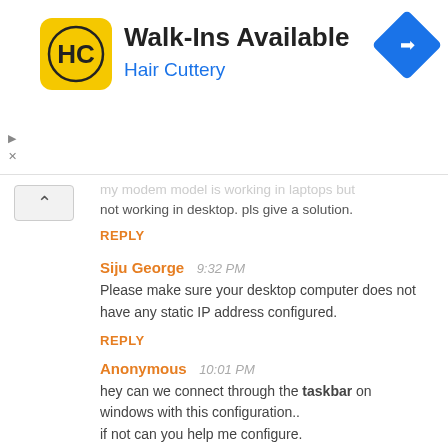[Figure (screenshot): Hair Cuttery advertisement banner with logo, 'Walk-Ins Available' title, and navigation icon]
my modem model is working in laptops but not working in desktop. pls give a solution.
REPLY
Siju George  9:32 PM
Please make sure your desktop computer does not have any static IP address configured.
REPLY
Anonymous  10:01 PM
hey can we connect through the taskbar on windows with this configuration.. if not can you help me configure.
REPLY
Siju George  6:11 AM